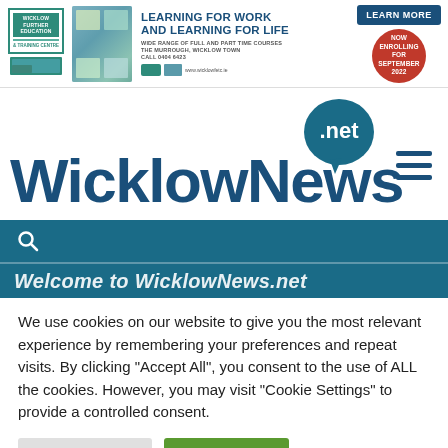[Figure (other): Wicklow Further Education & Training Centre banner advertisement with photos, text 'LEARNING FOR WORK AND LEARNING FOR LIFE', LEARN MORE button, and NOW ENROLLING FOR SEPTEMBER 2022 badge]
[Figure (logo): WicklowNews.net logo with dark teal text and .net speech bubble]
[Figure (other): Teal search bar with magnifying glass icon]
Welcome to WicklowNews.net
We use cookies on our website to give you the most relevant experience by remembering your preferences and repeat visits. By clicking "Accept All", you consent to the use of ALL the cookies. However, you may visit "Cookie Settings" to provide a controlled consent.
Cookie Settings
Accept All